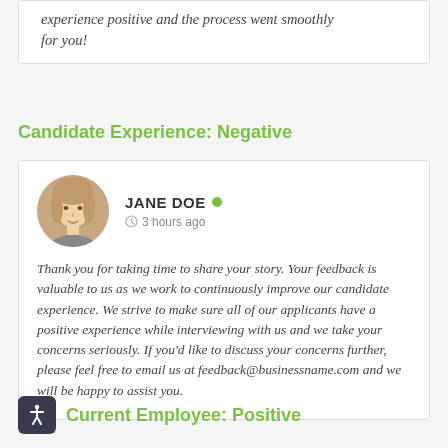experience positive and the process went smoothly for you!
Candidate Experience: Negative
[Figure (photo): Profile photo of Jane Doe, a woman with blonde hair]
JANE DOE • 3 hours ago
Thank you for taking time to share your story. Your feedback is valuable to us as we work to continuously improve our candidate experience. We strive to make sure all of our applicants have a positive experience while interviewing with us and we take your concerns seriously. If you'd like to discuss your concerns further, please feel free to email us at feedback@businessname.com and we will be happy to assist you.
Current Employee: Positive